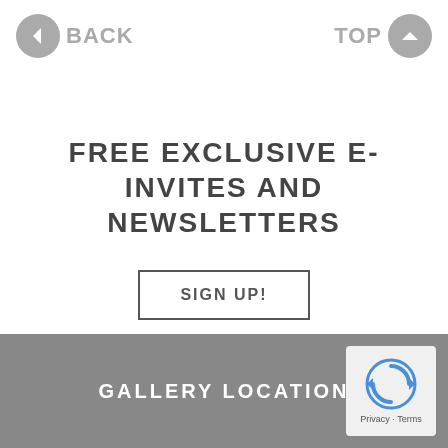BACK  TOP
FREE EXCLUSIVE E-INVITES AND NEWSLETTERS
SIGN UP!
GALLERY LOCATION